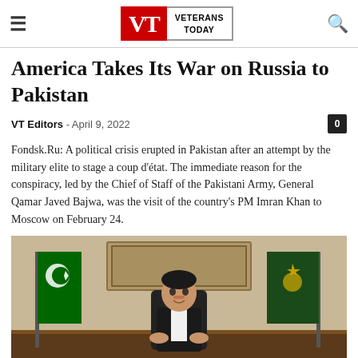VETERANS TODAY
America Takes Its War on Russia to Pakistan
VT Editors – April 9, 2022
Fondsk.Ru: A political crisis erupted in Pakistan after an attempt by the military elite to stage a coup d'état. The immediate reason for the conspiracy, led by the Chief of Staff of the Pakistani Army, General Qamar Javed Bajwa, was the visit of the country's PM Imran Khan to Moscow on February 24.
[Figure (photo): Photo of Imran Khan seated at a desk in official setting, with Pakistani flags on either side and a framed picture on the wall behind him.]